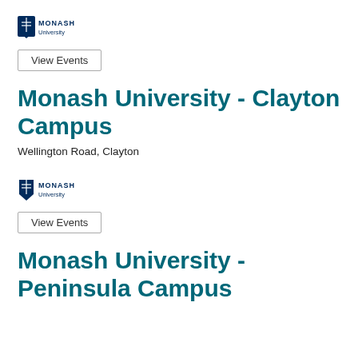[Figure (logo): Monash University logo — shield icon with MONASH University text]
View Events
Monash University - Clayton Campus
Wellington Road, Clayton
[Figure (logo): Monash University logo — shield icon with MONASH University text]
View Events
Monash University - Peninsula Campus